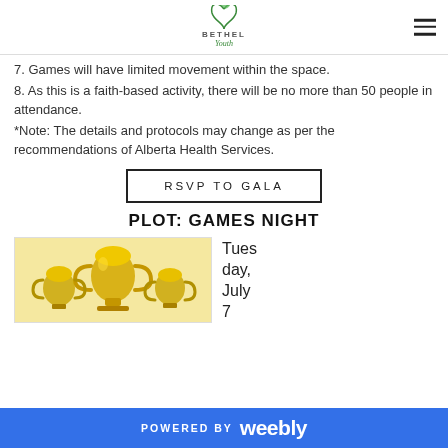BETHEL Youth
7. Games will have limited movement within the space.
8. As this is a faith-based activity, there will be no more than 50 people in attendance.
*Note: The details and protocols may change as per the recommendations of Alberta Health Services.
RSVP TO GALA
PLOT: GAMES NIGHT
[Figure (photo): Gold trophy cups arranged together for a games night event]
Tuesday, July 7
POWERED BY weebly